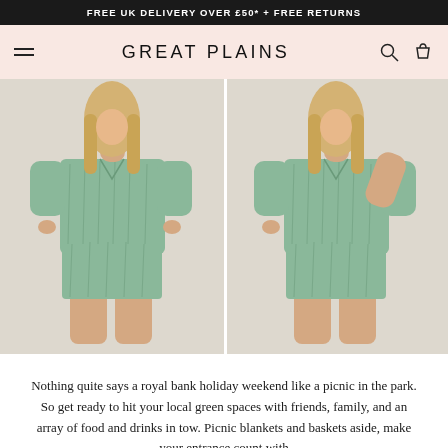FREE UK DELIVERY OVER £50* + FREE RETURNS
GREAT PLAINS
[Figure (photo): Two side-by-side photos of a woman wearing a green printed short-sleeve shirt and matching shorts set, shown from front-left and right-side angles against a light background.]
Nothing quite says a royal bank holiday weekend like a picnic in the park. So get ready to hit your local green spaces with friends, family, and an array of food and drinks in tow. Picnic blankets and baskets aside, make your entrance count with